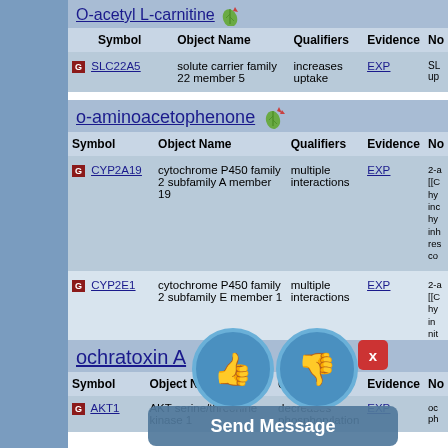O-acetyl L-carnitine
| Symbol | Object Name | Qualifiers | Evidence | No |
| --- | --- | --- | --- | --- |
| SLC22A5 | solute carrier family 22 member 5 | increases uptake | EXP | SL... up... |
o-aminoacetophenone
| Symbol | Object Name | Qualifiers | Evidence | No |
| --- | --- | --- | --- | --- |
| CYP2A19 | cytochrome P450 family 2 subfamily A member 19 | multiple interactions | EXP | 2-a [[C hy inc hy inh res co |
| CYP2E1 | cytochrome P450 family 2 subfamily E member 1 | multiple interactions | EXP | 2-a [[C hy in nit inh in |
ochratoxin A
| Symbol | Object Name | Qualifiers | Evidence | No |
| --- | --- | --- | --- | --- |
| AKT1 | AKT serine/threonine kinase 1 | decreases phosphorylation | EXP | oc ph... |
[Figure (infographic): UI overlay with thumbs up button, thumbs down button, close (x) button, and Send Message button]